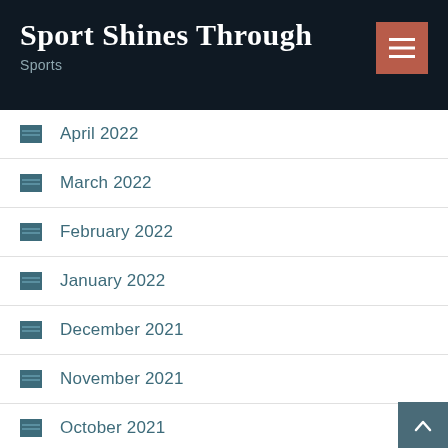Sport Shines Through
Sports
April 2022
March 2022
February 2022
January 2022
December 2021
November 2021
October 2021
September 2021